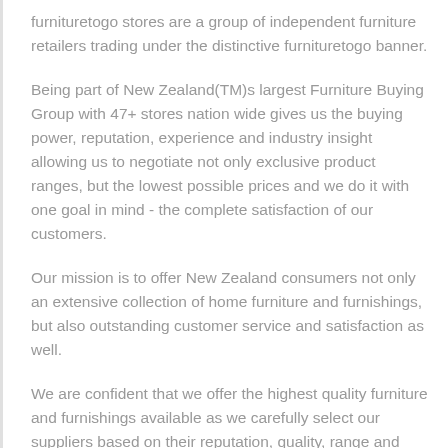furnituretogo stores are a group of independent furniture retailers trading under the distinctive furnituretogo banner.
Being part of New Zealand(TM)s largest Furniture Buying Group with 47+ stores nation wide gives us the buying power, reputation, experience and industry insight allowing us to negotiate not only exclusive product ranges, but the lowest possible prices and we do it with one goal in mind - the complete satisfaction of our customers.
Our mission is to offer New Zealand consumers not only an extensive collection of home furniture and furnishings, but also outstanding customer service and satisfaction as well.
We are confident that we offer the highest quality furniture and furnishings available as we carefully select our suppliers based on their reputation, quality, range and reliability.